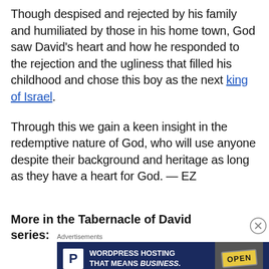Though despised and rejected by his family and humiliated by those in his home town, God saw David's heart and how he responded to the rejection and the ugliness that filled his childhood and chose this boy as the next king of Israel.
Through this we gain a keen insight in the redemptive nature of God, who will use anyone despite their background and heritage as long as they have a heart for God. — EZ
More in the Tabernacle of David series:
[Figure (other): Advertisement banner: WordPress Hosting That Means BUSINESS. with P icon and OPEN sign photo]